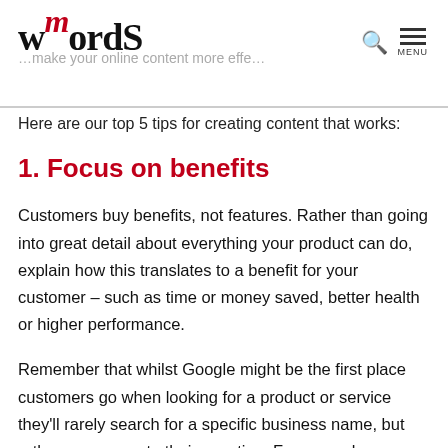mWordS — make your online content more effe… [logo and navigation]
Here are our top 5 tips for creating content that works:
1. Focus on benefits
Customers buy benefits, not features. Rather than going into great detail about everything your product can do, explain how this translates to a benefit for your customer – such as time or money saved, better health or higher performance.
Remember that whilst Google might be the first place customers go when looking for a product or service they'll rarely search for a specific business name, but rather an answer to their question. For example, someone with a burst water pipe won't search for 'Dave